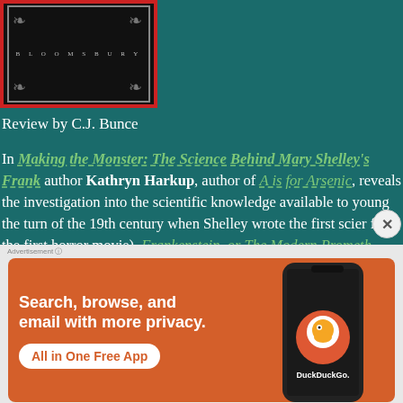[Figure (photo): Book cover with red border and ornamental design showing BLOOMSBURY text]
Review by C.J. Bunce
In Making the Monster: The Science Behind Mary Shelley's Frankenstein author Kathryn Harkup, author of A is for Arsenic, reveals the investigation into the scientific knowledge available to young the turn of the 19th century when Shelley wrote the first scier for the first horror movie), Frankenstein, or The Modern Prometh detailed, marvelously interconnected picture of notable minds and their theories, a useful history of science and technology, to any reading or study of the classic story.
[Figure (screenshot): DuckDuckGo advertisement banner with orange background showing 'Search, browse, and email with more privacy. All in One Free App' with phone image and DuckDuckGo logo]